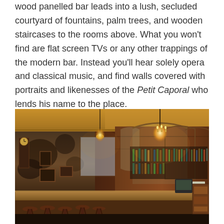wood panelled bar leads into a lush, secluded courtyard of fountains, palm trees, and wooden staircases to the rooms above. What you won't find are flat screen TVs or any other trappings of the modern bar. Instead you'll hear solely opera and classical music, and find walls covered with portraits and likenesses of the Petit Caporal who lends his name to the place.
[Figure (photo): Interior photograph of a vintage bar with a long dark wood bar counter, bar stools, ornate wood paneling, arched mirrors, bottles on shelves, old portraits and framed pictures on distressed walls, antique clocks, and warm amber lighting from chandeliers.]